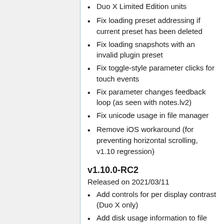Duo X Limited Edition units
Fix loading preset addressing if current preset has been deleted
Fix loading snapshots with an invalid plugin preset
Fix toggle-style parameter clicks for touch events
Fix parameter changes feedback loop (as seen with notes.lv2)
Fix unicode usage in file manager
Remove iOS workaround (for preventing horizontal scrolling, v1.10 regression)
v1.10.0-RC2
Released on 2021/03/11
Add controls for per display contrast (Duo X only)
Add disk usage information to file